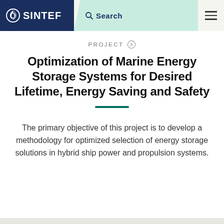SINTEF — Search navigation header
PROJECT
Optimization of Marine Energy Storage Systems for Desired Lifetime, Energy Saving and Safety
The primary objective of this project is to develop a methodology for optimized selection of energy storage solutions in hybrid ship power and propulsion systems.